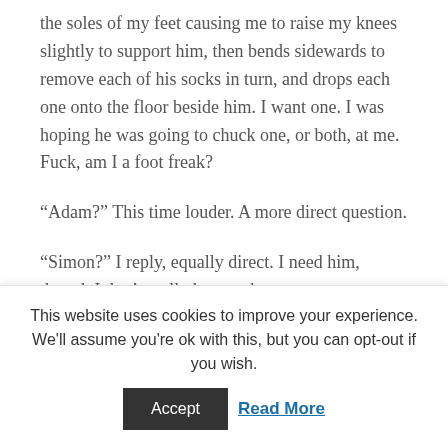the soles of my feet causing me to raise my knees slightly to support him, then bends sidewards to remove each of his socks in turn, and drops each one onto the floor beside him. I want one. I was hoping he was going to chuck one, or both, at me. Fuck, am I a foot freak?
“Adam?” This time louder. A more direct question.
“Simon?” I reply, equally direct. I need him, though I don’t really know why.
I pull my knees right up to my chest and he falls
This website uses cookies to improve your experience. We’ll assume you’re ok with this, but you can opt-out if you wish.